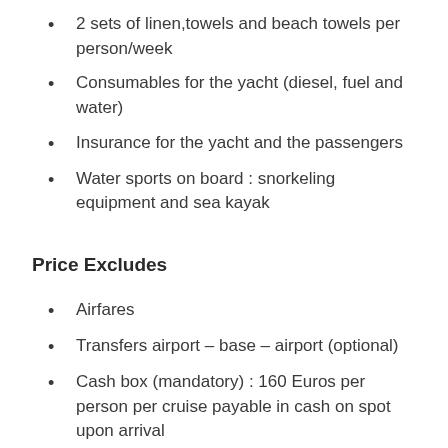2 sets of linen,towels and beach towels per person/week
Consumables for the yacht (diesel, fuel and water)
Insurance for the yacht and the passengers
Water sports on board : snorkeling equipment and sea kayak
Price Excludes
Airfares
Transfers airport – base – airport (optional)
Cash box (mandatory) : 160 Euros per person per cruise payable in cash on spot upon arrival
Excursions package (optional) : 95 Euros per person payable upon booking
Cash Box Details